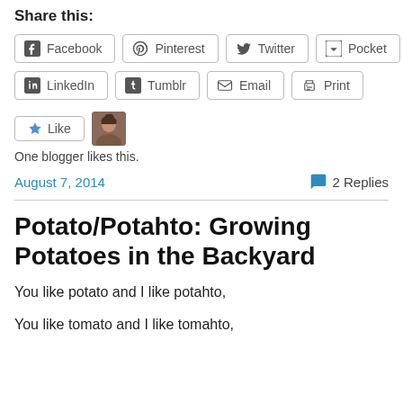Share this:
Facebook  Pinterest  Twitter  Pocket
LinkedIn  Tumblr  Email  Print
[Figure (other): Like button with star icon and a blogger avatar photo]
One blogger likes this.
August 7, 2014
2 Replies
Potato/Potahto: Growing Potatoes in the Backyard
You like potato and I like potahto,
You like tomato and I like tomahto,